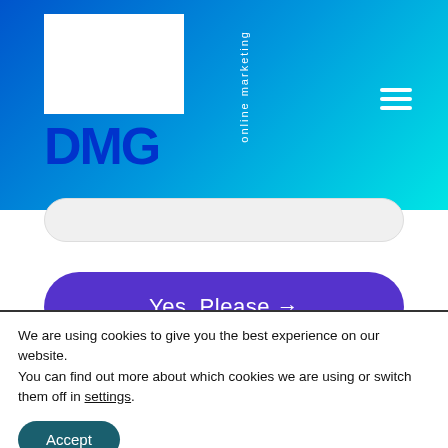[Figure (logo): DMG online marketing logo — white square with blue DMG text and 'online marketing' rotated vertically, on a blue-to-cyan gradient header bar with hamburger menu icon]
[Figure (screenshot): Partially visible input field (rounded rectangle, light gray)]
Yes, Please →
Follow Us
We are using cookies to give you the best experience on our website.
You can find out more about which cookies we are using or switch them off in settings.
Accept